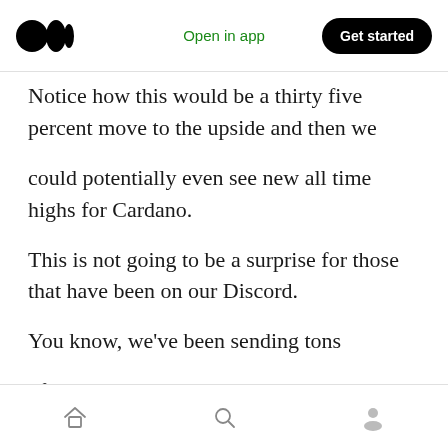Medium logo | Open in app | Get started
Notice how this would be a thirty five percent move to the upside and then we
could potentially even see new all time highs for Cardano.
This is not going to be a surprise for those that have been on our Discord.
You know, we've been sending tons
of Altcoin signals with Altcoins like
Home | Search | Profile